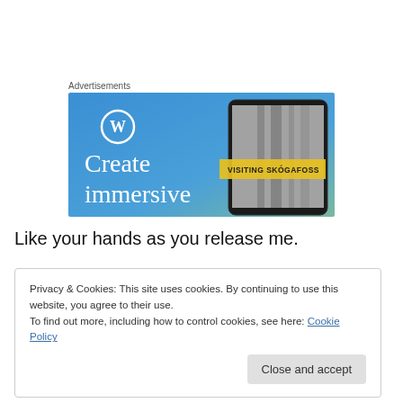Advertisements
[Figure (screenshot): WordPress advertisement banner with blue gradient background, WordPress logo (W in circle), text 'Create immersive' in white serif font on left, and smartphone showing a waterfall photo labeled 'VISITING SKOGAFOSS' on right]
Like your hands as you release me.
Privacy & Cookies: This site uses cookies. By continuing to use this website, you agree to their use.
To find out more, including how to control cookies, see here: Cookie Policy
Close and accept